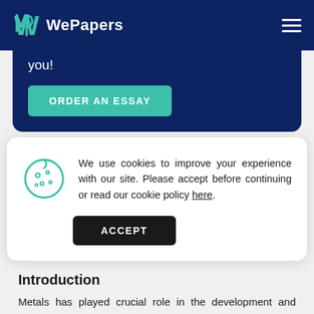WePapers
you!
ORDER AN ESSAY
We use cookies to improve your experience with our site. Please accept before continuing or read our cookie policy here.
ACCEPT
Introduction
Metals has played crucial role in the development and improvement of modern and historical